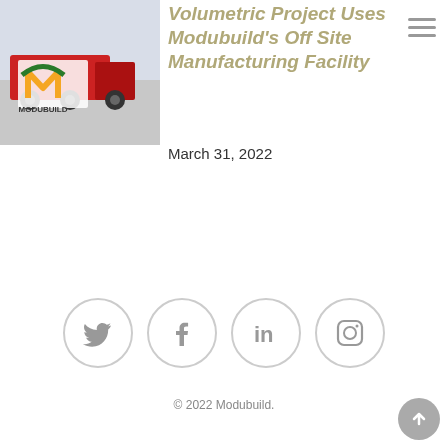[Figure (photo): Modubuild logo and truck image in top left corner]
Volumetric Project Uses Modubuild's Off Site Manufacturing Facility
March 31, 2022
[Figure (infographic): Four social media icons in circles: Twitter, Facebook, LinkedIn, Instagram]
© 2022 Modubuild.